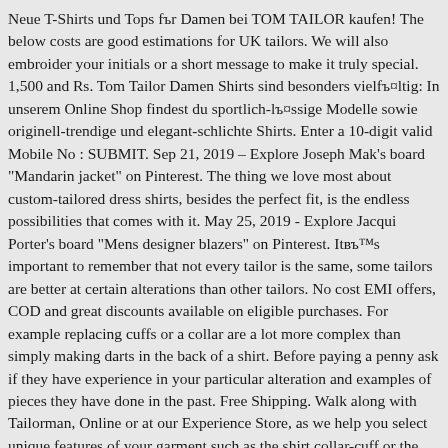Neue T-Shirts und Tops für Damen bei TOM TAILOR kaufen! The below costs are good estimations for UK tailors. We will also embroider your initials or a short message to make it truly special. 1,500 and Rs. Tom Tailor Damen Shirts sind besonders vielfältig: In unserem Online Shop findest du sportlich-lässige Modelle sowie originell-trendige und elegant-schlichte Shirts. Enter a 10-digit valid Mobile No : SUBMIT. Sep 21, 2019 – Explore Joseph Mak's board "Mandarin jacket" on Pinterest. The thing we love most about custom-tailored dress shirts, besides the perfect fit, is the endless possibilities that comes with it. May 25, 2019 - Explore Jacqui Porter's board "Mens designer blazers" on Pinterest. It's important to remember that not every tailor is the same, some tailors are better at certain alterations than other tailors. No cost EMI offers, COD and great discounts available on eligible purchases. For example replacing cuffs or a collar are a lot more complex than simply making darts in the back of a shirt. Before paying a penny ask if they have experience in your particular alteration and examples of pieces they have done in the past. Free Shipping. Walk along with Tailorman, Online or at our Experience Store, as we help you select unique features of your garment such as the shirt collar-cuff or the suit collar lapel. Organic Clothing. Founded in 2012, Bombay Shirt Company offers bespoke shirts in a variety of designs, colours and prints. Shirts are made...